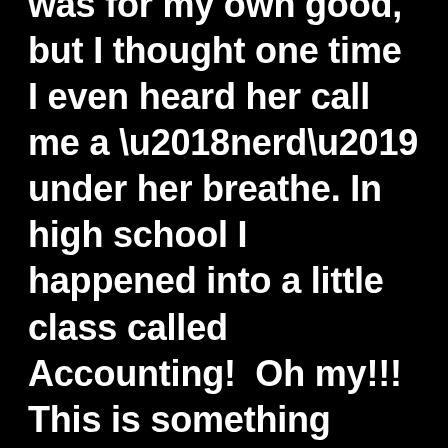was for my own good, but I thought one time I even heard her call me a ‘nerd’ under her breathe. In high school I happened into a little class called Accounting!  Oh my!!!  This is something new…and amazing…and perfect…and balanced…and spreadsheeted!!! Lotus 123 (a MS DOS precurser to Excel) was the single best thing I’d ever seen in my existence!!?  Think about how fast I would be able to